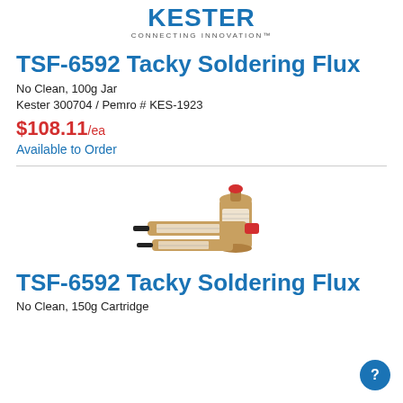Kester CONNECTING INNOVATION
TSF-6592 Tacky Soldering Flux
No Clean, 100g Jar
Kester 300704  /  Pemro # KES-1923
$108.11/ea
Available to Order
[Figure (photo): Product photo showing three syringe-style cartridges of TSF-6592 Tacky Soldering Flux with orange/amber colored flux visible, alongside a larger bottle, with red and black caps]
TSF-6592 Tacky Soldering Flux
No Clean, 150g Cartridge